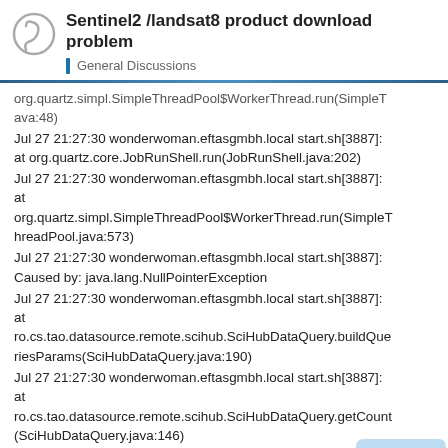Sentinel2 /landsat8 product download problem — General Discussions
org.quartz.simpl.SimpleThreadPool$WorkerThread.run(SimpleThreadPool.java:48)
Jul 27 21:27:30 wonderwoman.eftasgmbh.local start.sh[3887]: at org.quartz.core.JobRunShell.run(JobRunShell.java:202)
Jul 27 21:27:30 wonderwoman.eftasgmbh.local start.sh[3887]: at org.quartz.simpl.SimpleThreadPool$WorkerThread.run(SimpleThreadPool.java:573)
Jul 27 21:27:30 wonderwoman.eftasgmbh.local start.sh[3887]: Caused by: java.lang.NullPointerException
Jul 27 21:27:30 wonderwoman.eftasgmbh.local start.sh[3887]: at ro.cs.tao.datasource.remote.scihub.SciHubDataQuery.buildQueriesParams(SciHubDataQuery.java:190)
Jul 27 21:27:30 wonderwoman.eftasgmbh.local start.sh[3887]: at ro.cs.tao.datasource.remote.scihub.SciHubDataQuery.getCount(SciHubDataQuery.java:146)
Jul 27 21:27:30 wonderwoman.eftasgmbh
8 / 12